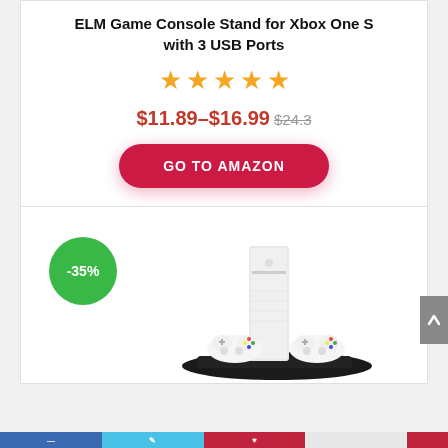ELM Game Console Stand for Xbox One S with 3 USB Ports
[Figure (other): Five orange star rating icons]
$11.89–$16.99 $24.3
GO TO AMAZON
[Figure (photo): Product photo of Xbox One S console on a vertical stand with two white controllers, black base. Green badge showing -35% discount.]